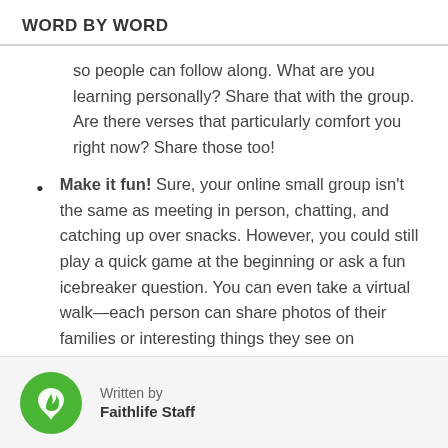WORD BY WORD
so people can follow along. What are you learning personally? Share that with the group. Are there verses that particularly comfort you right now? Share those too!
Make it fun! Sure, your online small group isn't the same as meeting in person, chatting, and catching up over snacks. However, you could still play a quick game at the beginning or ask a fun icebreaker question. You can even take a virtual walk—each person can share photos of their families or interesting things they see on
Written by
Faithlife Staff